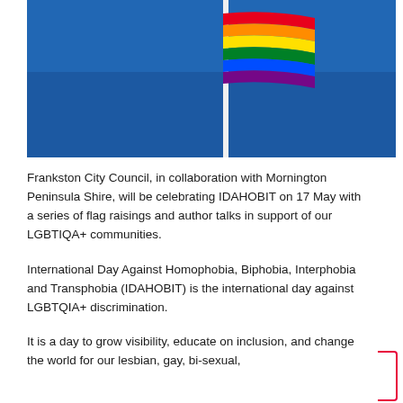[Figure (photo): A rainbow Pride flag flying on a tall white flagpole against a bright blue sky.]
Frankston City Council, in collaboration with Mornington Peninsula Shire, will be celebrating IDAHOBIT on 17 May with a series of flag raisings and author talks in support of our LGBTIQA+ communities.
International Day Against Homophobia, Biphobia, Interphobia and Transphobia (IDAHOBIT) is the international day against LGBTQIA+ discrimination.
It is a day to grow visibility, educate on inclusion, and change the world for our lesbian, gay, bi-sexual,